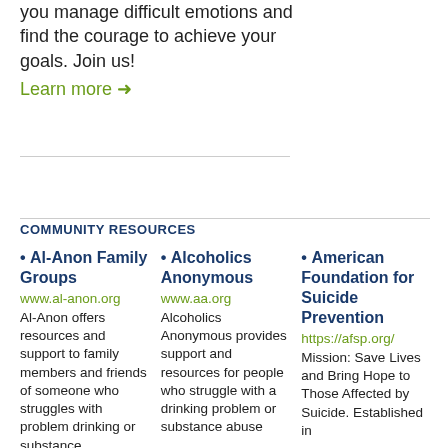you manage difficult emotions and find the courage to achieve your goals. Join us!
Learn more →
COMMUNITY RESOURCES
• Al-Anon Family Groups
www.al-anon.org
Al-Anon offers resources and support to family members and friends of someone who struggles with problem drinking or substance
• Alcoholics Anonymous
www.aa.org
Alcoholics Anonymous provides support and resources for people who struggle with a drinking problem or substance abuse
• American Foundation for Suicide Prevention
https://afsp.org/
Mission: Save Lives and Bring Hope to Those Affected by Suicide. Established in